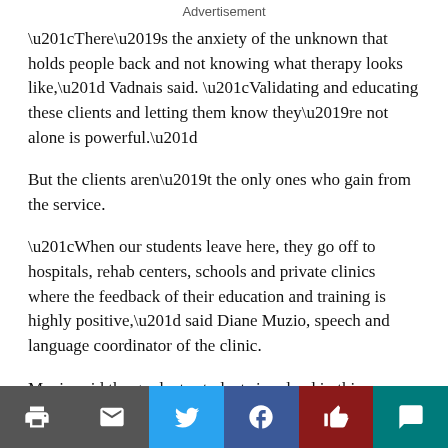Advertisement
“There’s the anxiety of the unknown that holds people back and not knowing what therapy looks like,” Vadnais said. “Validating and educating these clients and letting them know they’re not alone is powerful.”
But the clients aren’t the only ones who gain from the service.
“When our students leave here, they go off to hospitals, rehab centers, schools and private clinics where the feedback of their education and training is highly positive,” said Diane Muzio, speech and language coordinator of the clinic.
Muzio said the graduate students involved in this program are exposed to the best practices available